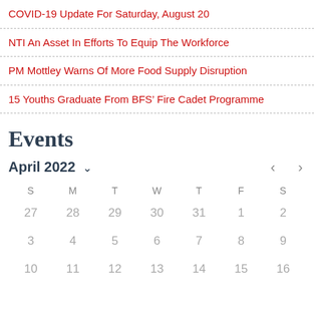COVID-19 Update For Saturday, August 20
NTI An Asset In Efforts To Equip The Workforce
PM Mottley Warns Of More Food Supply Disruption
15 Youths Graduate From BFS’ Fire Cadet Programme
Events
April 2022
| S | M | T | W | T | F | S |
| --- | --- | --- | --- | --- | --- | --- |
| 27 | 28 | 29 | 30 | 31 | 1 | 2 |
| 3 | 4 | 5 | 6 | 7 | 8 | 9 |
| 10 | 11 | 12 | 13 | 14 | 15 | 16 |